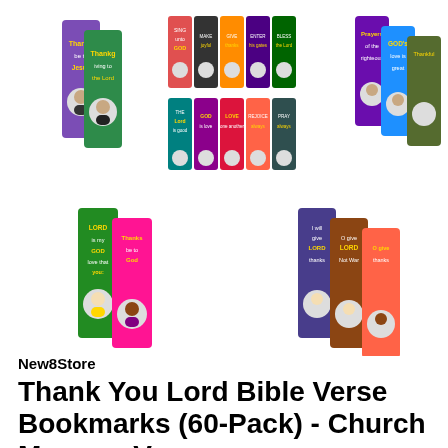[Figure (photo): Five groups of colorful Bible verse bookmarks with cartoon child characters shown in two rows. Top row shows three groups: left group has 2 tall bookmarks (purple/blue tones), center group shows a spread of 10 bookmarks in various bright colors, right group has 3 bookmarks (purple/teal). Bottom row shows two groups: left group has 2 bookmarks (green/pink), right group has 3 bookmarks (blue/purple/orange).]
New8Store
Thank You Lord Bible Verse Bookmarks (60-Pack) - Church Memory Verse